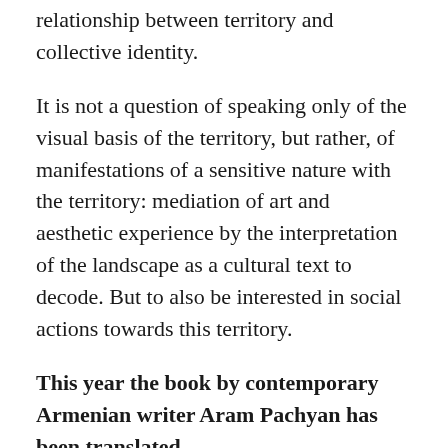relationship between territory and collective identity.
It is not a question of speaking only of the visual basis of the territory, but rather, of manifestations of a sensitive nature with the territory: mediation of art and aesthetic experience by the interpretation of the landscape as a cultural text to decode. But to also be interested in social actions towards this territory.
This year the book by contemporary Armenian writer Aram Pachyan has been translated.
It is important, for me, to defend contemporary creation, including Armenian, with a certain desire to think about the links between art, knowledge